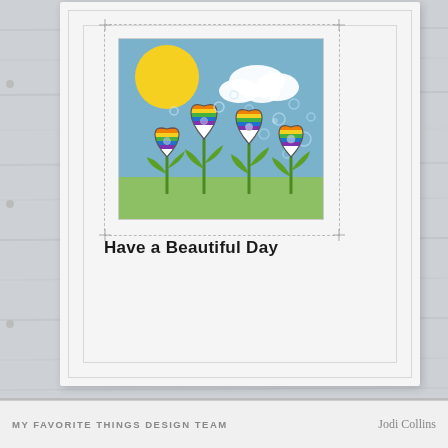[Figure (photo): A handmade greeting card photographed on a light wood surface. The card features a stitched dashed border frame with corner crosses, and a square scene panel showing colorful rainbow-striped tulip flowers with stems and leaves against a blue sky with a yellow sun, white clouds, and floating clear bubble embellishments. Below the scene panel the card reads 'Have a Beautiful Day' in bold black text.]
Have a Beautiful Day
MY FAVORITE THINGS DESIGN TEAM    Jodi Collins